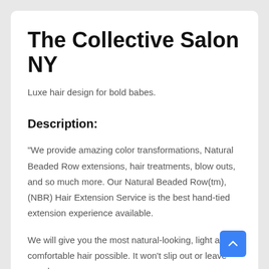The Collective Salon NY
Luxe hair design for bold babes.
Description:
"We provide amazing color transformations, Natural Beaded Row extensions, hair treatments, blow outs, and so much more. Our Natural Beaded Row(tm), (NBR) Hair Extension Service is the best hand-tied extension experience available.
We will give you the most natural-looking, light and comfortable hair possible. It won't slip out or leave any damage.